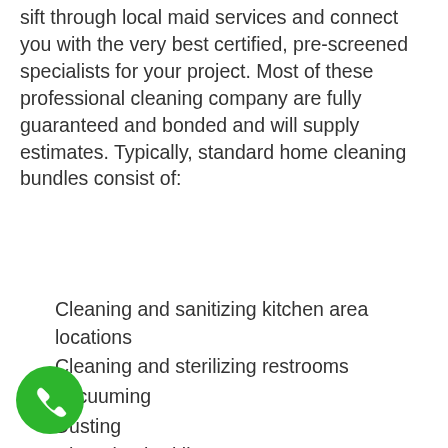sift through local maid services and connect you with the very best certified, pre-screened specialists for your project. Most of these professional cleaning company are fully guaranteed and bonded and will supply estimates. Typically, standard home cleaning bundles consist of:
Cleaning and sanitizing kitchen area locations
Cleaning and sterilizing restrooms
Vacuuming
Dusting
Changing bed linens
Filling dishwashing machines